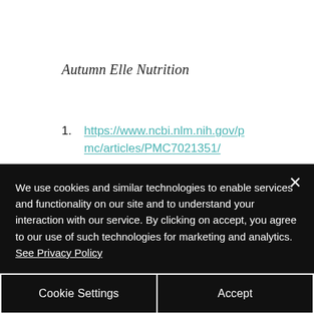Autumn Elle Nutrition
https://www.ncbi.nlm.nih.gov/pmc/articles/PMC7021351/
https://pubmed.ncbi.nlm.nih.go v/18198305/
We use cookies and similar technologies to enable services and functionality on our site and to understand your interaction with our service. By clicking on accept, you agree to our use of such technologies for marketing and analytics. See Privacy Policy
Cookie Settings
Accept